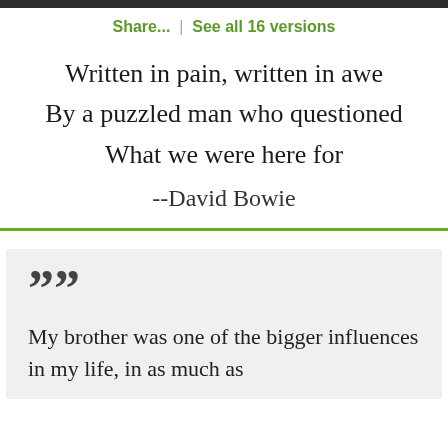Share...  |  See all 16 versions
Written in pain, written in awe
By a puzzled man who questioned
What we were here for
--David Bowie
”” My brother was one of the bigger influences in my life, in as much as